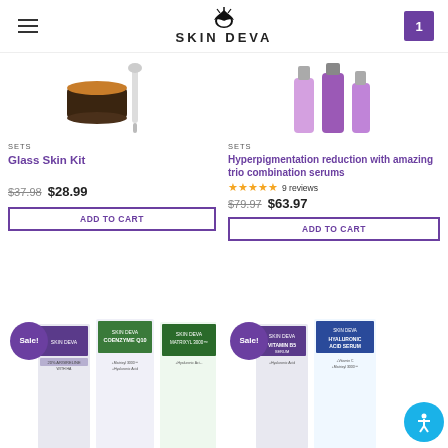SKIN DEVA
[Figure (photo): Glass Skin Kit product image - dark jar with dropper]
SETS
Glass Skin Kit
$37.98  $28.99
ADD TO CART
[Figure (photo): Hyperpigmentation trio serums product image]
SETS
Hyperpigmentation reduction with amazing trio combination serums
★★★★★ 9 reviews
$79.97  $63.97
ADD TO CART
[Figure (photo): Sale! Three Skin Deva serum product boxes including 20% Argireline with HA, Coenzyme Q10, and Matrixyl 3000 serums]
[Figure (photo): Sale! Three Skin Deva serum product boxes including Vitamin B5 Serum and Hyaluronic Acid serum]